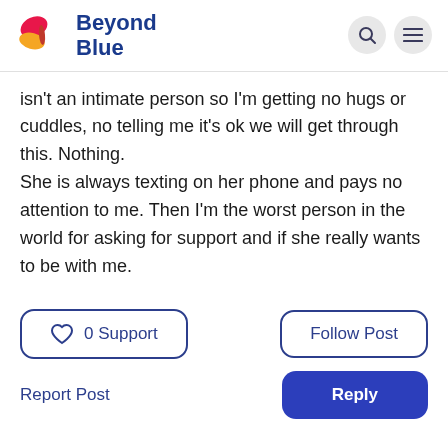Beyond Blue
isn't an intimate person so I'm getting no hugs or cuddles, no telling me it's ok we will get through this. Nothing.
She is always texting on her phone and pays no attention to me. Then I'm the worst person in the world for asking for support and if she really wants to be with me.
0 Support
Follow Post
Report Post
Reply